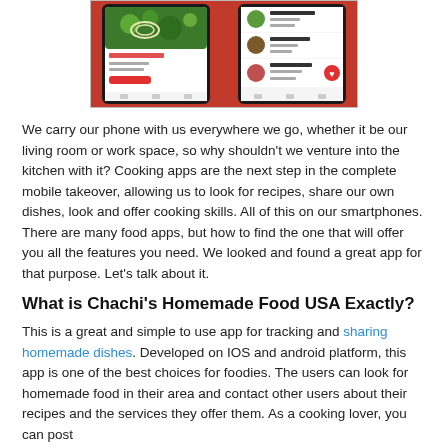[Figure (screenshot): Screenshot of a cooking/food app (Chachi's Homemade Food USA) showing food item detail and listing screens on mobile devices with a red background.]
We carry our phone with us everywhere we go, whether it be our living room or work space, so why shouldn't we venture into the kitchen with it? Cooking apps are the next step in the complete mobile takeover, allowing us to look for recipes, share our own dishes, look and offer cooking skills. All of this on our smartphones. There are many food apps, but how to find the one that will offer you all the features you need. We looked and found a great app for that purpose. Let's talk about it.
What is Chachi's Homemade Food USA Exactly?
This is a great and simple to use app for tracking and sharing homemade dishes. Developed on IOS and android platform, this app is one of the best choices for foodies. The users can look for homemade food in their area and contact other users about their recipes and the services they offer them. As a cooking lover, you can post